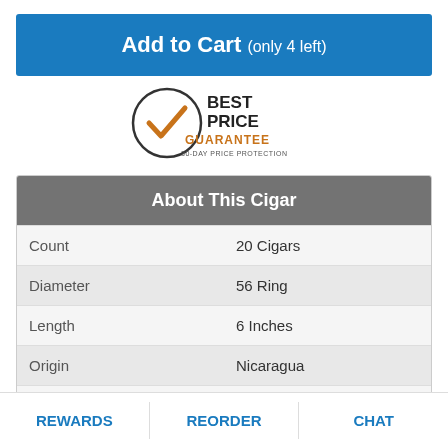Add to Cart (only 4 left)
[Figure (logo): Best Price Guarantee 30-Day Price Protection badge with checkmark icon]
| About This Cigar |  |
| --- | --- |
| Count | 20 Cigars |
| Diameter | 56 Ring |
| Length | 6 Inches |
| Origin | Nicaragua |
| Packaging | Box |
| Shape | Regular |
REWARDS    REORDER    CHAT